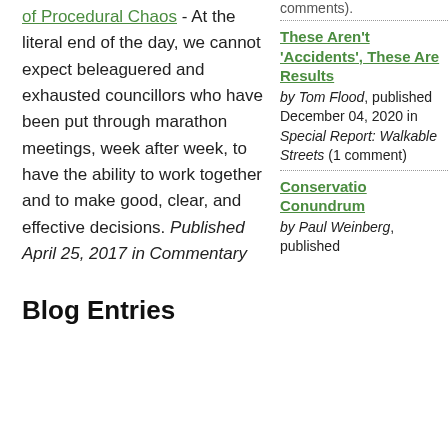of Procedural Chaos - At the literal end of the day, we cannot expect beleaguered and exhausted councillors who have been put through marathon meetings, week after week, to have the ability to work together and to make good, clear, and effective decisions. Published April 25, 2017 in Commentary
Blog Entries
comments).
These Aren't 'Accidents', These Are Results
by Tom Flood, published December 04, 2020 in Special Report: Walkable Streets (1 comment)
Conservation Conundrum
by Paul Weinberg, published